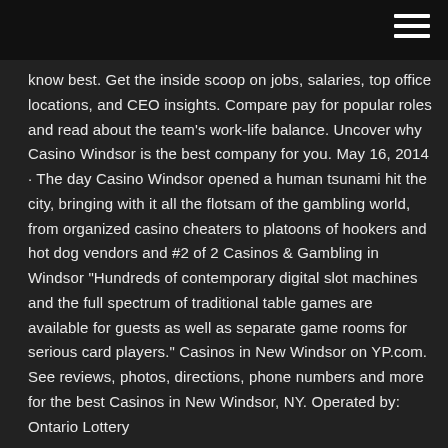know best. Get the inside scoop on jobs, salaries, top office locations, and CEO insights. Compare pay for popular roles and read about the team's work-life balance. Uncover why Casino Windsor is the best company for you. May 16, 2014 · The day Casino Windsor opened a human tsunami hit the city, bringing with it all the flotsam of the gambling world, from organized casino cheaters to platoons of hookers and hot dog vendors and #2 of 2 Casinos & Gambling in Windsor "Hundreds of contemporary digital slot machines and the full spectrum of traditional table games are available for guests as well as separate game rooms for serious card players." Casinos in New Windsor on YP.com. See reviews, photos, directions, phone numbers and more for the best Casinos in New Windsor, NY. Operated by: Ontario Lottery